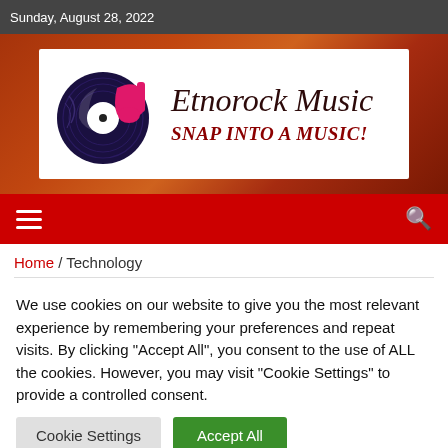Sunday, August 28, 2022
[Figure (logo): Etnorock Music website banner with vinyl record / music note logo on left, site title 'Etnorock Music' and tagline 'SNAP INTO A MUSIC!' on right, on a white card over a flame background.]
Etnorock Music
SNAP INTO A MUSIC!
Home / Technology
We use cookies on our website to give you the most relevant experience by remembering your preferences and repeat visits. By clicking "Accept All", you consent to the use of ALL the cookies. However, you may visit "Cookie Settings" to provide a controlled consent.
Cookie Settings   Accept All